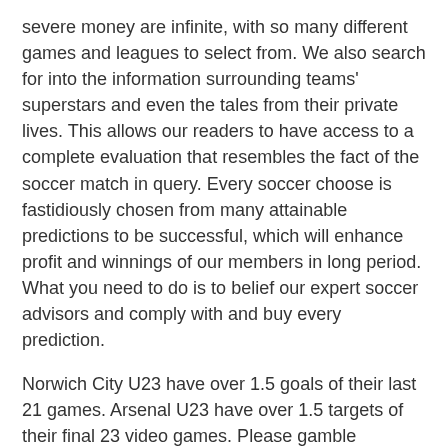severe money are infinite, with so many different games and leagues to select from. We also search for into the information surrounding teams' superstars and even the tales from their private lives. This allows our readers to have access to a complete evaluation that resembles the fact of the soccer match in query. Every soccer choose is fastidiously chosen from many attainable predictions to be successful, which will enhance profit and winnings of our members in long period. What you need to do is to belief our expert soccer advisors and comply with and buy every prediction.
Norwich City U23 have over 1.5 goals of their last 21 games. Arsenal U23 have over 1.5 targets of their final 23 video games. Please gamble responsibly and solely wager what you'll https://www.walmart.com/search?q=joker388+เว็บพนันบอลUFA09.NETโบนัส500ฝาก600LINEID:@UFA09 have the ability to afford to lose. Betting websites have a quantity of instruments that can help you to remain in control similar to deposit limits and time outs.